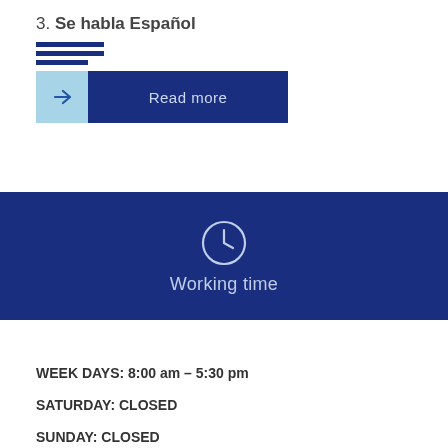3. Se habla Español
[Figure (infographic): Stacked horizontal lines icon (dark blue) above a Read more button with arrow]
Read more
[Figure (infographic): Clock icon with Working time label on dark blue background]
WEEK DAYS: 8:00 am – 5:30 pm
SATURDAY: CLOSED
SUNDAY: CLOSED
[Figure (infographic): Location pin icon with Location label on dark blue background]